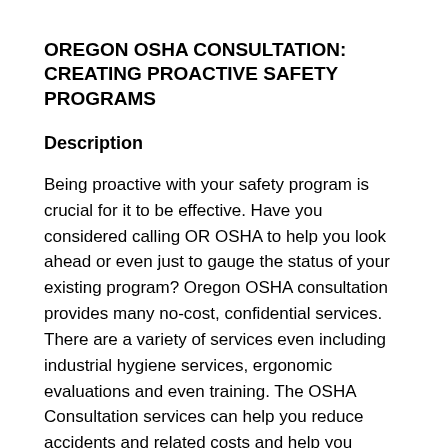OREGON OSHA CONSULTATION: CREATING PROACTIVE SAFETY PROGRAMS
Description
Being proactive with your safety program is crucial for it to be effective. Have you considered calling OR OSHA to help you look ahead or even just to gauge the status of your existing program? Oregon OSHA consultation provides many no-cost, confidential services. There are a variety of services even including industrial hygiene services, ergonomic evaluations and even training. The OSHA Consultation services can help you reduce accidents and related costs and help you develop a comprehensive program to manage safety and health. We will also be talking about some